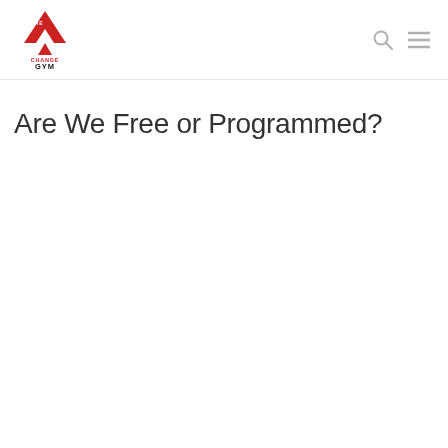[Figure (logo): The Change Gym logo: red upward triangle with 'THE CHANGE GYM' text in red and black]
Are We Free or Programmed?